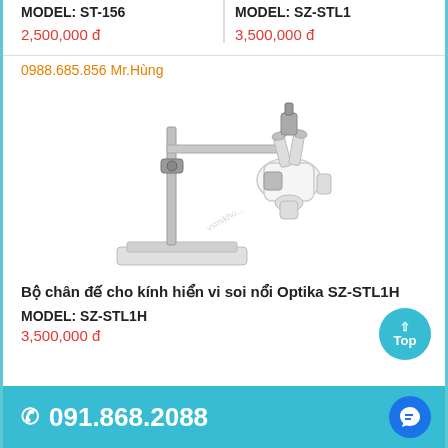MODEL: ST-156
2,500,000 đ
MODEL: SZ-STL1
3,500,000 đ
0988.685.856 Mr.Hùng
[Figure (photo): Stereo microscope on a boom stand with flat base - Bộ chân đế cho kính hiển vi soi nổi Optika SZ-STL1H]
Bộ chân đế cho kính hiển vi soi nổi Optika SZ-STL1H
MODEL: SZ-STL1H
3,500,000 đ
091.868.2088